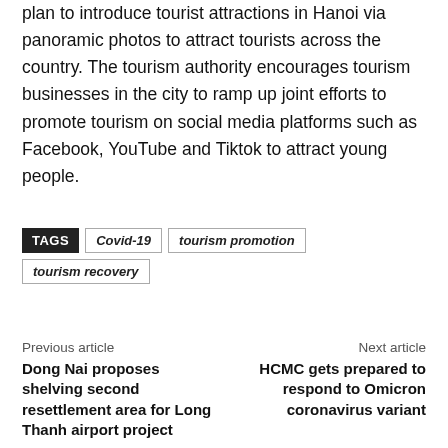The municipal tourism authority is also implementing a plan to introduce tourist attractions in Hanoi via panoramic photos to attract tourists across the country. The tourism authority encourages tourism businesses in the city to ramp up joint efforts to promote tourism on social media platforms such as Facebook, YouTube and Tiktok to attract young people.
TAGS  Covid-19  tourism promotion  tourism recovery
Previous article
Dong Nai proposes shelving second resettlement area for Long Thanh airport project
Next article
HCMC gets prepared to respond to Omicron coronavirus variant